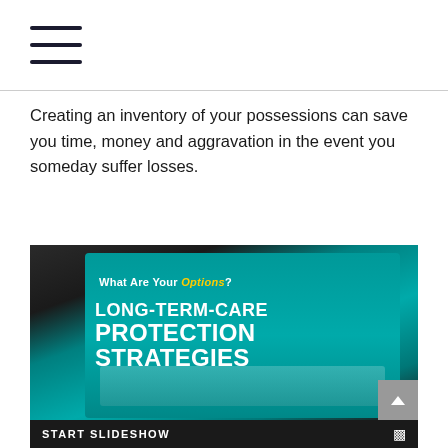[hamburger menu icon]
Creating an inventory of your possessions can save you time, money and aggravation in the event you someday suffer losses.
[Figure (photo): A tablet computer displaying a slideshow or presentation titled 'Long-Term-Care Protection Strategies' with subtitle 'What Are Your Options?' on a teal/cyan background, with pill bottles visible in the foreground. A 'START SLIDESHOW' button appears at the bottom of the image along with a scroll-up button.]